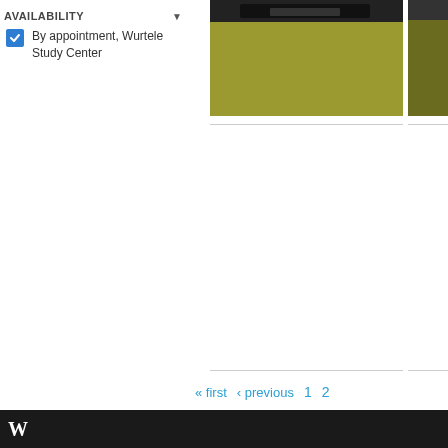AVAILABILITY
By appointment, Wurtele Study Center
[Figure (photo): Photo of items on a yellow-green surface, partially cropped]
[Figure (photo): Second photo, partially cropped on the right edge]
« first  ‹ previous  1  2
Footer bar (dark background with white logo text)